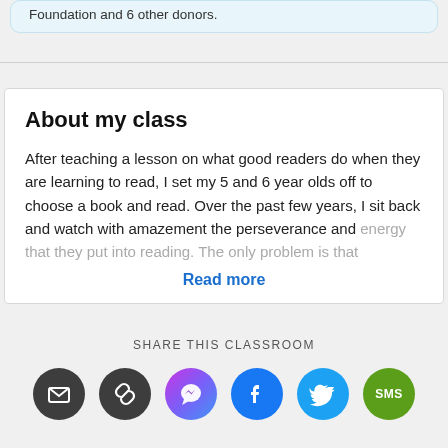Foundation and 6 other donors.
About my class
After teaching a lesson on what good readers do when they are learning to read, I set my 5 and 6 year olds off to choose a book and read. Over the past few years, I sit back and watch with amazement the perseverance and energy that they put into reading. The only problem is that
Read more
SHARE THIS CLASSROOM